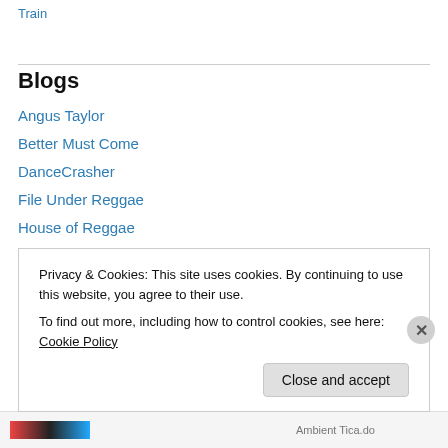Train
Blogs
Angus Taylor
Better Must Come
DanceCrasher
File Under Reggae
House of Reggae
Large Up
Lawless Street
Mr. Gillis ventil
Privacy & Cookies: This site uses cookies. By continuing to use this website, you agree to their use. To find out more, including how to control cookies, see here: Cookie Policy
Close and accept